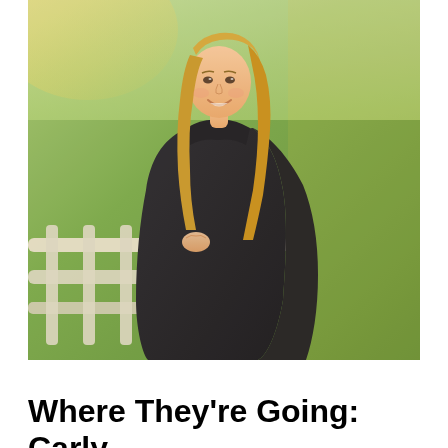[Figure (photo): A smiling young woman with long blonde hair wearing a black graduation gown, standing on a porch with a white railing, with green grass in the background.]
Where They're Going: Carly ...